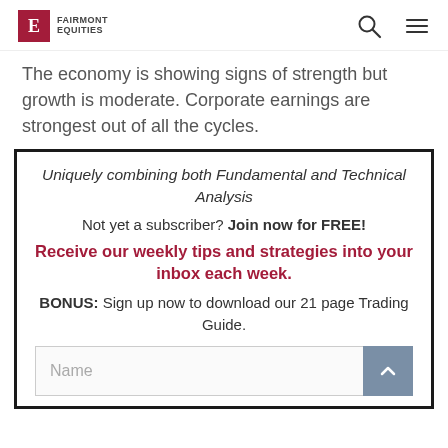FAIRMONT EQUITIES
The economy is showing signs of strength but growth is moderate. Corporate earnings are strongest out of all the cycles.
Uniquely combining both Fundamental and Technical Analysis
Not yet a subscriber? Join now for FREE!
Receive our weekly tips and strategies into your inbox each week.
BONUS: Sign up now to download our 21 page Trading Guide.